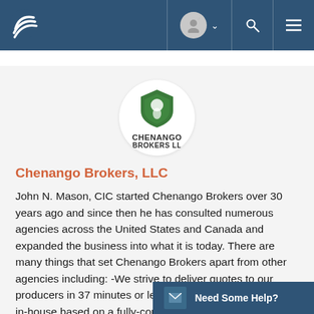Navigation bar with Chenango Brokers logo, user avatar, search, and menu icons
[Figure (logo): Chenango Brokers LLC shield logo — green shield with white thistle graphic, text CHENANGO BROKERS LLC below]
Chenango Brokers, LLC
John N. Mason, CIC started Chenango Brokers over 30 years ago and since then he has consulted numerous agencies across the United States and Canada and expanded the business into what it is today. There are many things that set Chenango Brokers apart from other agencies including: -We strive to deliver quotes to our producers in 37 minutes or less (on products we can quote in-house based on a fully-completed application on the first submission). -We don't make our producers wait to be p... direct bill commissions are paid...
Need Some Help?